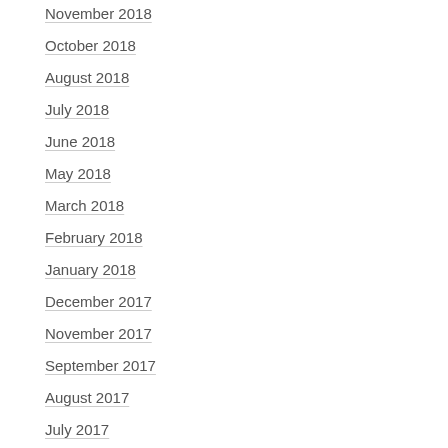November 2018
October 2018
August 2018
July 2018
June 2018
May 2018
March 2018
February 2018
January 2018
December 2017
November 2017
September 2017
August 2017
July 2017